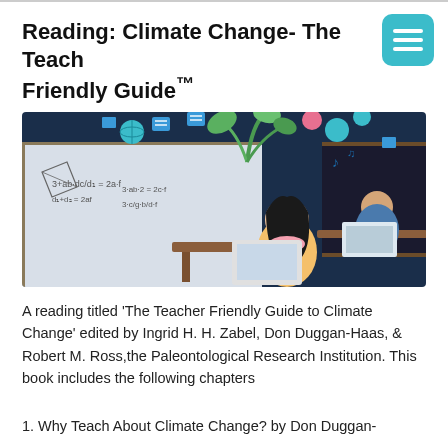Reading: Climate Change- The Teacher Friendly Guide™
[Figure (illustration): Illustration of two students sitting at desks in a classroom, with a whiteboard covered in equations behind them, and colorful digital icons and plant imagery floating above representing digital/creative learning.]
A reading titled 'The Teacher Friendly Guide to Climate Change' edited by Ingrid H. H. Zabel, Don Duggan-Haas, & Robert M. Ross,the Paleontological Research Institution. This book includes the following chapters
1. Why Teach About Climate Change? by Don Duggan-